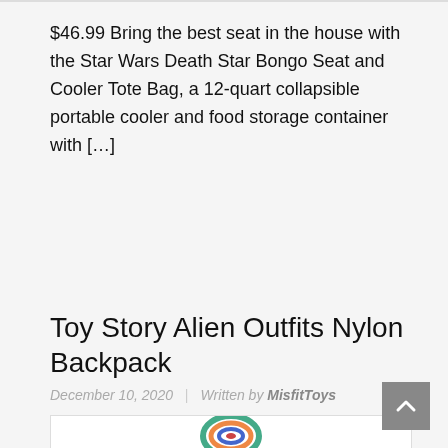$46.99 Bring the best seat in the house with the Star Wars Death Star Bongo Seat and Cooler Tote Bag, a 12-quart collapsible portable cooler and food storage container with […]
READ MORE
Toy Story Alien Outfits Nylon Backpack
December 10, 2020 | Written by MisfitToys
[Figure (photo): Partial view of a colorful circular object (appears to be the Toy Story Alien Nylon Backpack) shown at the bottom of the page, partially cropped.]